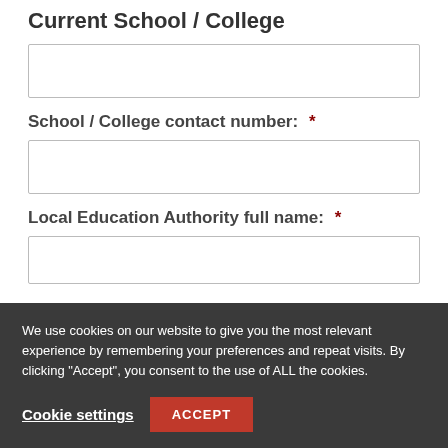Current School / College
School / College contact number: *
Local Education Authority full name: *
We use cookies on our website to give you the most relevant experience by remembering your preferences and repeat visits. By clicking “Accept”, you consent to the use of ALL the cookies.
Cookie settings
ACCEPT